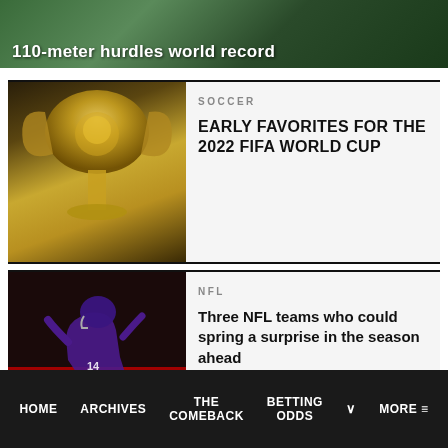[Figure (photo): Top banner image with green background and text '110-meter hurdles world record' in white bold]
[Figure (photo): Soccer card thumbnail showing golden FIFA World Cup trophy on dark background]
SOCCER
EARLY FAVORITES FOR THE 2022 FIFA WORLD CUP
[Figure (photo): NFL card thumbnail showing Minnesota Vikings player #14 in purple uniform]
NFL
Three NFL teams who could spring a surprise in the season ahead
[Figure (photo): Gambling card thumbnail - dark image partially visible]
GAMBLING
HOME  ARCHIVES  THE COMEBACK  BETTING ODDS  MORE